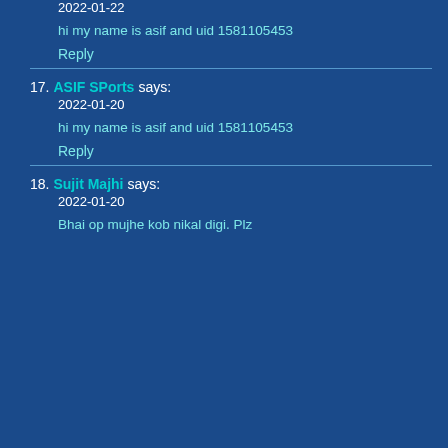2022-01-22
hi my name is asif and uid 1581105453
Reply
17. ASIF SPorts says: 2022-01-20
hi my name is asif and uid 1581105453
Reply
18. Sujit Majhi says: 2022-01-20
Bhai op mujhe kob nikal digi. Plz